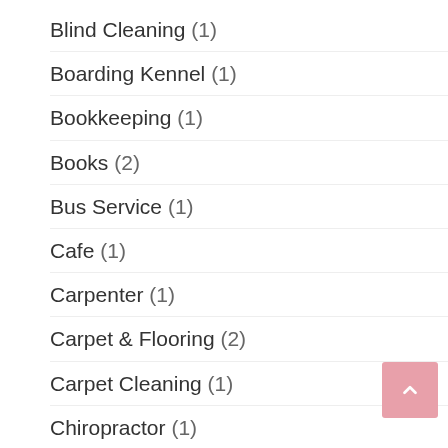Blind Cleaning (1)
Boarding Kennel (1)
Bookkeeping (1)
Books (2)
Bus Service (1)
Cafe (1)
Carpenter (1)
Carpet & Flooring (2)
Carpet Cleaning (1)
Chiropractor (1)
Cleaning (1)
Coach Service (1)
Concrete (1)
Concreting (1)